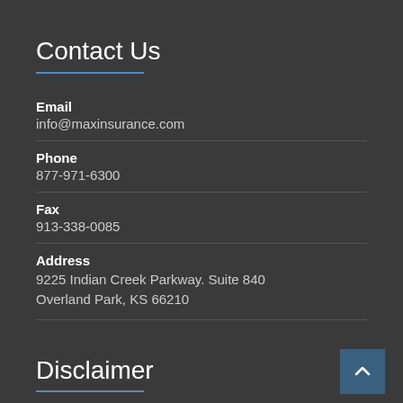Contact Us
Email
info@maxinsurance.com
Phone
877-971-6300
Fax
913-338-0085
Address
9225 Indian Creek Parkway. Suite 840
Overland Park, KS 66210
Disclaimer
Policies underwritten by MutualAid eXchange ("MAX") or through